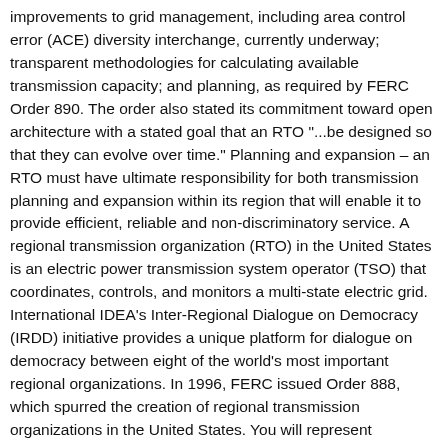improvements to grid management, including area control error (ACE) diversity interchange, currently underway; transparent methodologies for calculating available transmission capacity; and planning, as required by FERC Order 890. The order also stated its commitment toward open architecture with a stated goal that an RTO "...be designed so that they can evolve over time." Planning and expansion – an RTO must have ultimate responsibility for both transmission planning and expansion within its region that will enable it to provide efficient, reliable and non-discriminatory service. A regional transmission organization (RTO) in the United States is an electric power transmission system operator (TSO) that coordinates, controls, and monitors a multi-state electric grid. International IDEA's Inter-Regional Dialogue on Democracy (IRDD) initiative provides a unique platform for dialogue on democracy between eight of the world's most important regional organizations. In 1996, FERC issued Order 888, which spurred the creation of regional transmission organizations in the United States. You will represent